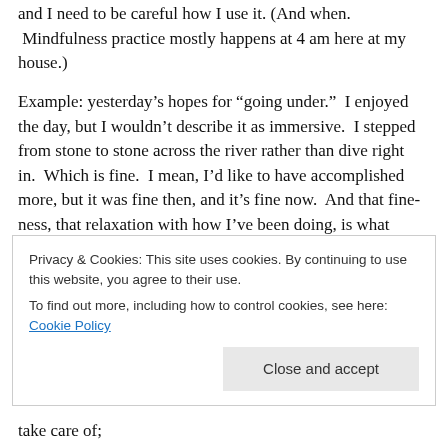and I need to be careful how I use it. (And when. Mindfulness practice mostly happens at 4 am here at my house.)
Example: yesterday’s hopes for “going under.”  I enjoyed the day, but I wouldn’t describe it as immersive.  I stepped from stone to stone across the river rather than dive right in.  Which is fine.  I mean, I’d like to have accomplished more, but it was fine then, and it’s fine now.  And that fine-ness, that relaxation with how I’ve been doing, is what enables me to keep moving forward. (And trust me, this is an atypical response.  I must be growing up or something.)
take care of;
Privacy & Cookies: This site uses cookies. By continuing to use this website, you agree to their use.
To find out more, including how to control cookies, see here: Cookie Policy